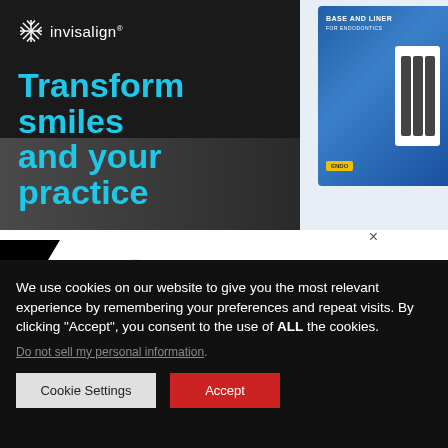[Figure (advertisement): Invisalign advertisement with black background showing logo and text 'Transform smiles and your practice' in cyan/blue color]
[Figure (advertisement): Partial advertisement on top right showing product packaging with blue and white colors]
[Figure (logo): Glidewell Symposium 2022 logo with tooth graphic, pixel/dot pattern, red diagonal stripe, white background. Text: GLIDEWELL SYMPOSIUM 2022]
We use cookies on our website to give you the most relevant experience by remembering your preferences and repeat visits. By clicking “Accept”, you consent to the use of ALL the cookies.
Do not sell my personal information.